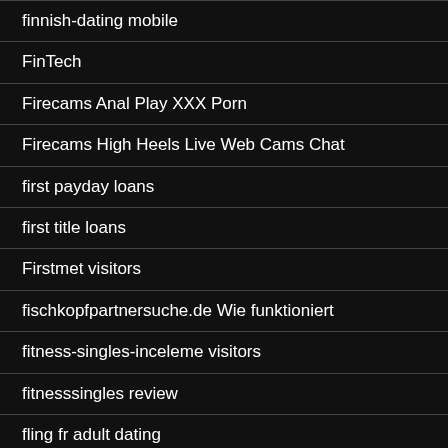finnish-dating mobile
FinTech
Firecams Anal Play XXX Porn
Firecams High Heels Live Web Cams Chat
first payday loans
first title loans
Firstmet visitors
fischkopfpartnersuche.de Wie funktioniert
fitness-singles-inceleme visitors
fitnesssingles review
fling fr adult dating
fling.com Combien la coste
fling...